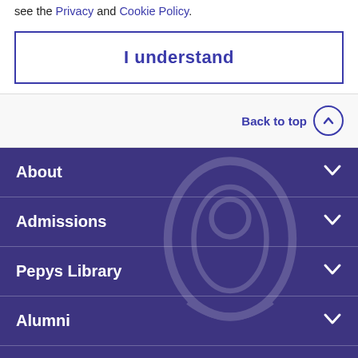see the Privacy and Cookie Policy.
I understand
Back to top
About
Admissions
Pepys Library
Alumni
Conference